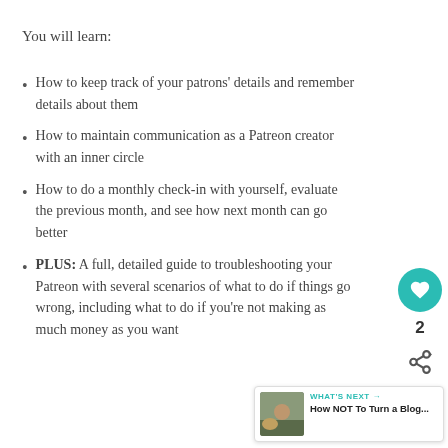You will learn:
How to keep track of your patrons' details and remember details about them
How to maintain communication as a Patreon creator with an inner circle
How to do a monthly check-in with yourself, evaluate the previous month, and see how next month can go better
PLUS: A full, detailed guide to troubleshooting your Patreon with several scenarios of what to do if things go wrong, including what to do if you're not making as much money as you want